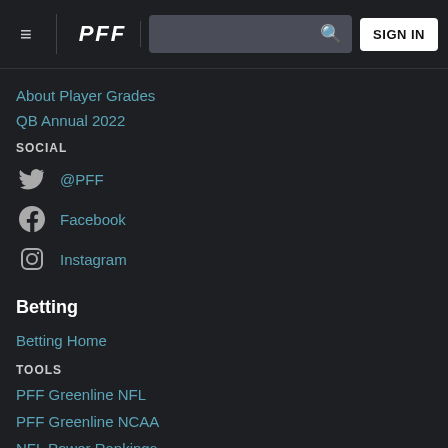PFF — SIGN IN
QB Annual 2022
About Player Grades
SOCIAL
@PFF
Facebook
Instagram
Betting
Betting Home
TOOLS
PFF Greenline NFL
PFF Greenline NCAA
NFL Power Rankings
NCAA Power Rankings
Best Bets